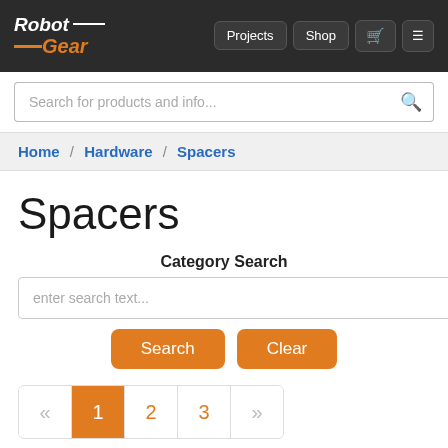RobotGear — navigation header with Projects, Shop, cart, and menu buttons
Search for products and info...
Home / Hardware / Spacers
Spacers
Category Search
enter search text...
Search  Clear
« 1 2 3 »